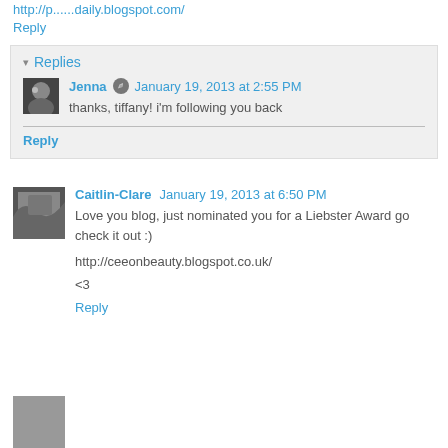http://p......daily.blogspot.com/
Reply
▾ Replies
Jenna  January 19, 2013 at 2:55 PM
thanks, tiffany! i'm following you back
Reply
Caitlin-Clare  January 19, 2013 at 6:50 PM
Love you blog, just nominated you for a Liebster Award go check it out :)
http://ceeonbeauty.blogspot.co.uk/
<3
Reply